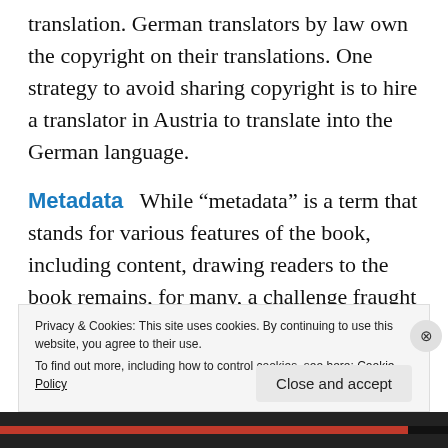translation. German translators by law own the copyright on their translations. One strategy to avoid sharing copyright is to hire a translator in Austria to translate into the German language.
Metadata   While “metadata” is a term that stands for various features of the book, including content, drawing readers to the book remains, for many, a challenge fraught with mystery. Lacy J. Williams, myself, and Randy Ingermanson, author of The Snowflake Method for Designing a Novel, co-hosted the panel on metadata and
Privacy & Cookies: This site uses cookies. By continuing to use this website, you agree to their use.
To find out more, including how to control cookies, see here: Cookie Policy